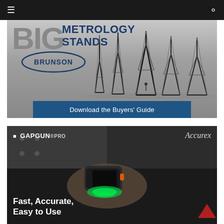Navigation bar with menu and search icons
[Figure (advertisement): Brunson Metrology Stands advertisement showing multiple large metrology stands/tripods of varying heights with a person for scale, Brunson oval logo, text 'BIG METROLOGY STANDS', and a blue 'Download the Buyers Guide' button]
[Figure (advertisement): GapGun Pro by Accurex advertisement showing a hand holding a green-lit scanning device against a dark surface, with text 'Fast, Accurate, Easy to Use']